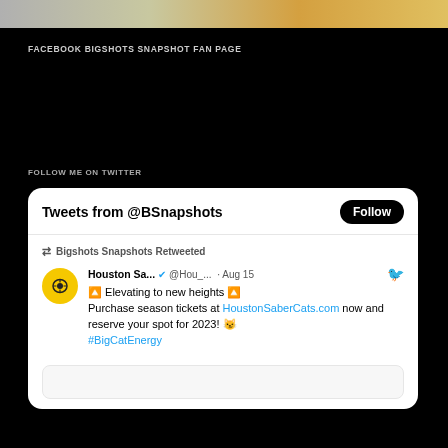[Figure (photo): Partial animal fur/texture image at the top of the page]
FACEBOOK BIGSHOTS SNAPSHOT FAN PAGE
FOLLOW ME ON TWITTER
[Figure (screenshot): Twitter widget showing Tweets from @BSnapshots with a Follow button and a retweeted post by Houston Sa... (@Hou_...) on Aug 15: Elevating to new heights. Purchase season tickets at HoustonSaberCats.com now and reserve your spot for 2023! #BigCatEnergy]